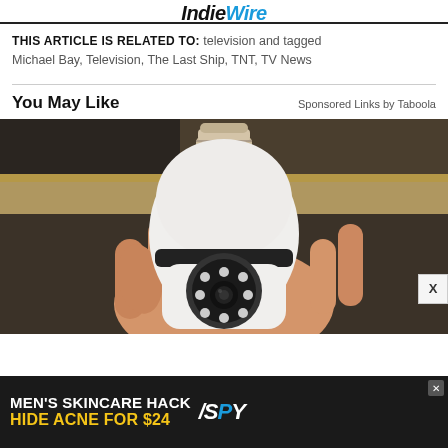IndieWire
THIS ARTICLE IS RELATED TO: television and tagged Michael Bay, Television, The Last Ship, TNT, TV News
You May Like
Sponsored Links by Taboola
[Figure (photo): A hand holding a white light bulb-shaped security camera with LED lights and a camera lens on the front, shown against a wooden shelf background.]
[Figure (photo): Advertisement: MEN'S SKINCARE HACK HIDE ACNE FOR $24 with SPY logo]